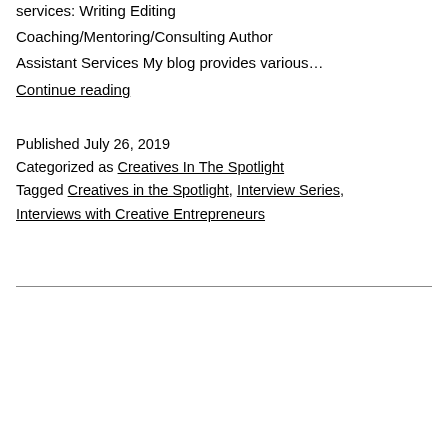services: Writing Editing Coaching/Mentoring/Consulting Author Assistant Services My blog provides various… Continue reading
Published July 26, 2019
Categorized as Creatives In The Spotlight
Tagged Creatives in the Spotlight, Interview Series, Interviews with Creative Entrepreneurs